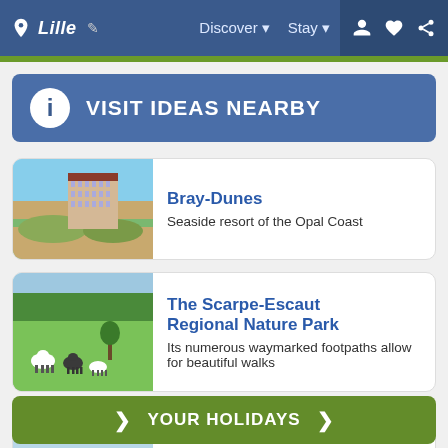Lille — Discover ▾  Stay ▾
VISIT IDEAS NEARBY
Bray-Dunes
Seaside resort of the Opal Coast
The Scarpe-Escaut Regional Nature Park
Its numerous waymarked footpaths allow for beautiful walks
YOUR HOLIDAYS